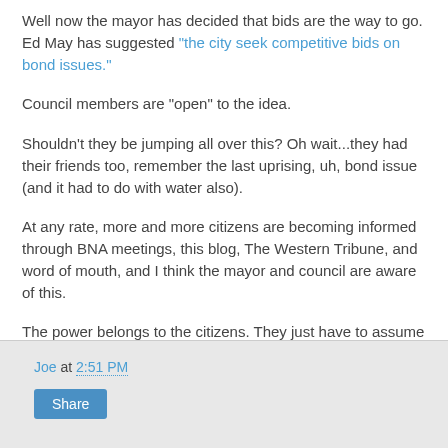Well now the mayor has decided that bids are the way to go. Ed May has suggested "the city seek competitive bids on bond issues."
Council members are "open" to the idea.
Shouldn't they be jumping all over this? Oh wait...they had their friends too, remember the last uprising, uh, bond issue (and it had to do with water also).
At any rate, more and more citizens are becoming informed through BNA meetings, this blog, The Western Tribune, and word of mouth, and I think the mayor and council are aware of this.
The power belongs to the citizens. They just have to assume it.
Joe at 2:51 PM  Share